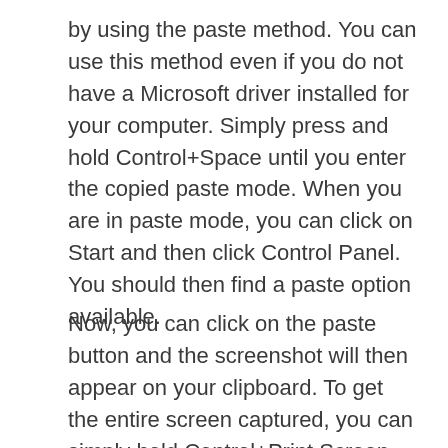by using the paste method. You can use this method even if you do not have a Microsoft driver installed for your computer. Simply press and hold Control+Space until you enter the copied paste mode. When you are in paste mode, you can click on Start and then click Control Panel. You should then find a paste option available.
Now, you can click on the paste button and the screenshot will then appear on your clipboard. To get the entire screen captured, you can simply hold Control+Print Screen, and this will take you to the screenshot area. While in this mode, you can use the arrow keys to scroll through your entire screen. You